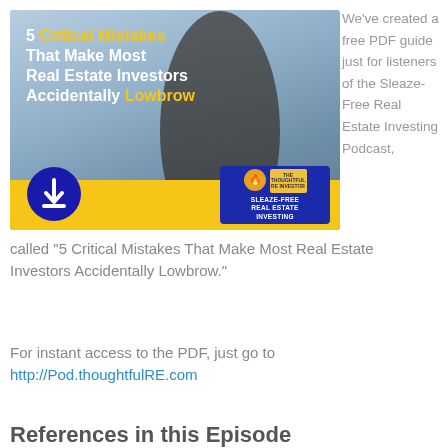[Figure (illustration): Promotional image showing a man with text '5 Critical Mistakes That Make Most Real Estate Investors Accidentally Lowbrow' with a download icon, yellow bar at bottom, and Sleaze-Free Real Estate Investing podcast badge]
We've created a free PDF guide just for listeners of the Sleaze-Free Real Estate Investing Podcast, called “5 Critical Mistakes That Make Most Real Estate Investors Accidentally Lowbrow.”
For instant access to the PDF, just go to http://Pod.thoughtfulRE.com
References in this Episode